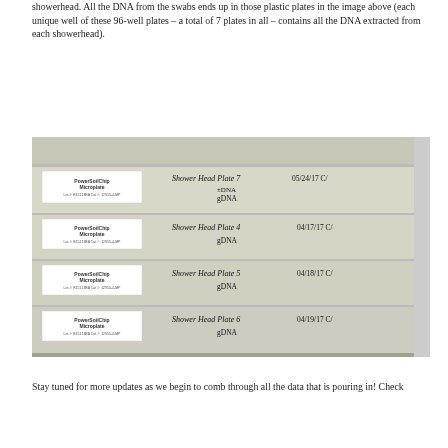showerhead. All the DNA from the swabs ends up in those plastic plates in the image above (each unique well of these 96-well plates – a total of 7 plates in all – contains all the DNA extracted from each showerhead).
[Figure (photo): Stack of four PowerSoil Chip Microplate 96-well plates labeled with handwritten text: Shower Head Plate 7 (gDNA, 05/24/17), Shower Head Plate 4 (gDNA, 04/17/17), Shower Head Plate 5 (gDNA, 04/18/17), Shower Head Plate 6 (gDNA, 04/19/17)]
Stay tuned for more updates as we begin to comb through all the data that is pouring in! Check